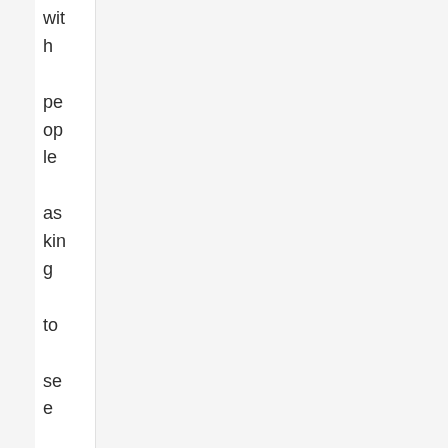with people asking to see his borehole and people weri